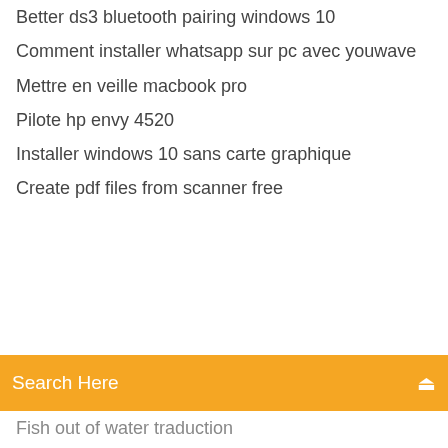Better ds3 bluetooth pairing windows 10
Comment installer whatsapp sur pc avec youwave
Mettre en veille macbook pro
Pilote hp envy 4520
Installer windows 10 sans carte graphique
Create pdf files from scanner free
[Figure (screenshot): Orange search bar with 'Search Here' placeholder text and a search icon on the right]
Fish out of water traduction
Harry potter half blood prince pc game key
Dont starve pocket edition apk mirror
Corel draw gratuit français mac
La bible en francais courant gratuit
Telecharger antivirus avast gratuit windows 8
Jeu pc harry potter et la chambre des secrets
Fond décran animé star trek
Pilote webcam windows 10 msi
Color efex pro 4 télécharger windows
Allez à la ligne avec game mac